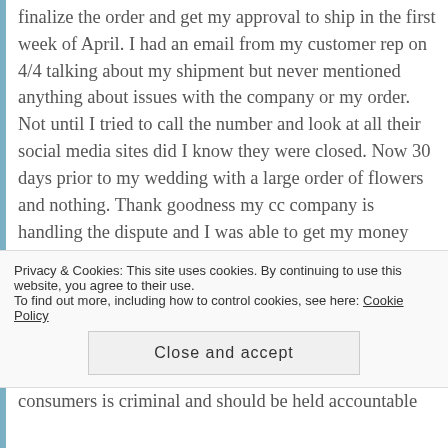finalize the order and get my approval to ship in the first week of April. I had an email from my customer rep on 4/4 talking about my shipment but never mentioned anything about issues with the company or my order. Not until I tried to call the number and look at all their social media sites did I know they were closed. Now 30 days prior to my wedding with a large order of flowers and nothing. Thank goodness my cc company is handling the dispute and I was able to get my money back.

As for Etsy, I found a fabulous woman who will be able to create all of our flowers with Sola Wood products
Privacy & Cookies: This site uses cookies. By continuing to use this website, you agree to their use.
To find out more, including how to control cookies, see here: Cookie Policy
Close and accept
consumers is criminal and should be held accountable